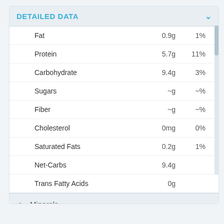DETAILED DATA
| Nutrient | Amount | % |
| --- | --- | --- |
| Fat | 0.9g | 1% |
| Protein | 5.7g | 11% |
| Carbohydrate | 9.4g | 3% |
| Sugars | ~g | ~% |
| Fiber | ~g | ~% |
| Cholesterol | 0mg | 0% |
| Saturated Fats | 0.2g | 1% |
| Net-Carbs | 9.4g |  |
| Trans Fatty Acids | 0g |  |
Minerals